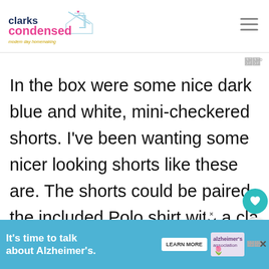clarks condensed — modern day homemaking
In the box were some nice dark blue and white, mini-checkered shorts. I've been wanting some nicer looking shorts like these are. The shorts could be paired with the included Polo shirt with a classic tropical print that faded from top to bottom.
[Figure (other): What's Next panel with Shipt Grocery Delivery thumbnail]
[Figure (other): Advertisement banner: It's time to talk about Alzheimer's. with Learn More button and Alzheimer's Association logo]